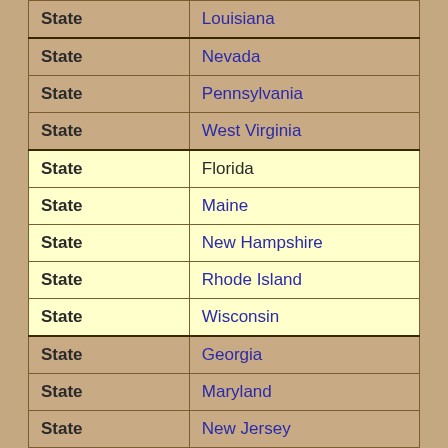| Type | Name |
| --- | --- |
| State | Louisiana |
| State | Nevada |
| State | Pennsylvania |
| State | West Virginia |
| State | Florida |
| State | Maine |
| State | New Hampshire |
| State | Rhode Island |
| State | Wisconsin |
| State | Georgia |
| State | Maryland |
| State | New Jersey |
| State | South Carolina |
| State | Wyoming |